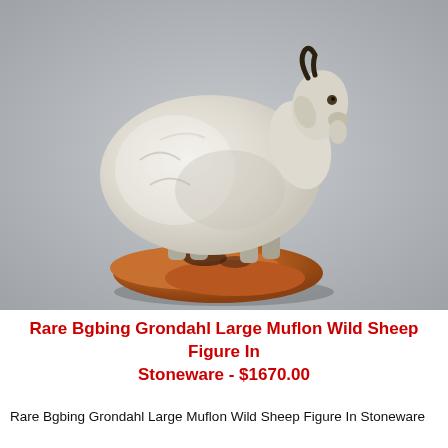[Figure (photo): A stoneware figurine of a Muflon wild sheep (Bgbing Grondahl). The white/cream sheep figure stands on an orange-brown rocky base. The sheep faces right, with dark horns. Background is light grey.]
Rare Bgbing Grondahl Large Muflon Wild Sheep Figure In Stoneware - $1670.00
Rare Bgbing Grondahl Large Muflon Wild Sheep Figure In Stoneware